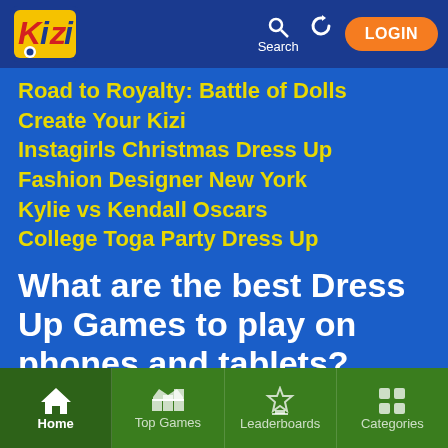Kizi - Search - Login navigation header
Road to Royalty: Battle of Dolls
Create Your Kizi
Instagirls Christmas Dress Up
Fashion Designer New York
Kylie vs Kendall Oscars
College Toga Party Dress Up
What are the best Dress Up Games to play on phones and tablets?
All the Spots Fashion
Home | Top Games | Leaderboards | Categories